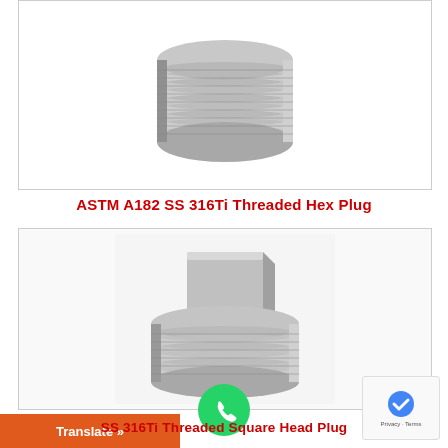[Figure (photo): Photo of ASTM A182 SS 316Ti Threaded Hex Plug — a cylindrical stainless steel hex plug with threaded exterior, viewed from above at an angle.]
ASTM A182 SS 316Ti Threaded Hex Plug
[Figure (photo): Photo of ASTM A182 SS 316Ti Threaded Square Head Plug — a stainless steel square head plug with square top and threaded cylindrical base.]
SS 316Ti Threaded Square Head Plug